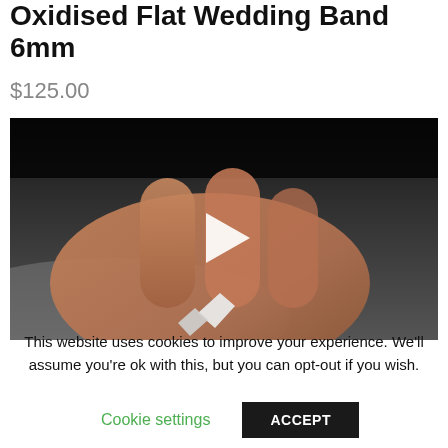Oxidised Flat Wedding Band 6mm
$125.00
[Figure (photo): Close-up photo of a hand holding a small silver ring or jewellery piece against a dark background, with a white play button triangle overlay in the center.]
This website uses cookies to improve your experience. We'll assume you're ok with this, but you can opt-out if you wish.
Cookie settings
ACCEPT